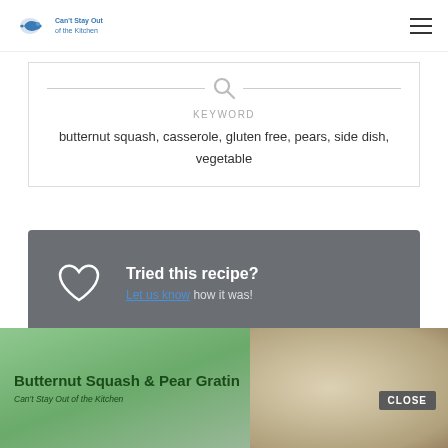[Figure (logo): Website logo with fish/ship icon and text 'Can't Stay Out of the Kitchen']
KEYWORD
butternut squash, casserole, gluten free, pears, side dish, vegetable
Tried this recipe? Let us know how it was!
[Figure (photo): Banner showing Butternut Squash & Pear Gratin with food photo and CLOSE button]